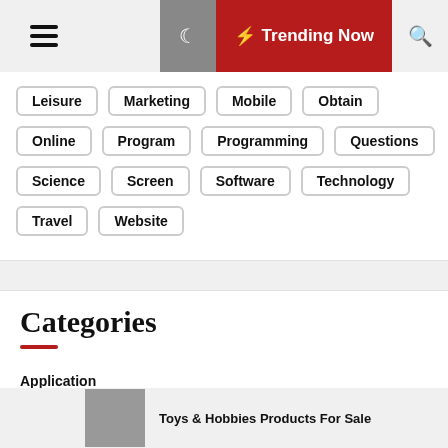≡  ☾  ⚡ Trending Now  🔍
Leisure
Marketing
Mobile
Obtain
Online
Program
Programming
Questions
Science
Screen
Software
Technology
Travel
Website
Categories
Application
Apps
Gadget Flow
Toys & Hobbies Products For Sale